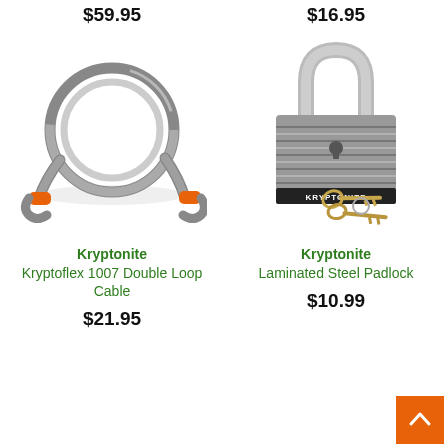$59.95
$16.95
[Figure (photo): Kryptonite Kryptoflex 1007 Double Loop Cable — a coiled grey steel cable with orange loop connectors at each end]
[Figure (photo): Kryptonite Laminated Steel Padlock with a chrome shackle and two gold keys on a ring]
Kryptonite
Kryptoflex 1007 Double Loop Cable
$21.95
Kryptonite
Laminated Steel Padlock
$10.99